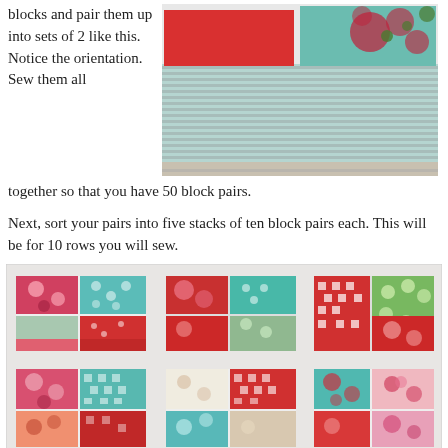blocks and pair them up into sets of 2 like this. Notice the orientation. Sew them all together so that you have 50 block pairs.
[Figure (photo): Stack of colorful quilting fabric blocks in red, teal, green and floral patterns, paired together, viewed from the side at an angle.]
Next, sort your pairs into five stacks of ten block pairs each. This will be for 10 rows you will sew.
[Figure (photo): Five stacks of quilting fabric block pairs laid out on a white surface, showing various red, teal, green, pink, and patterned fabrics arranged in two rows of stacks.]